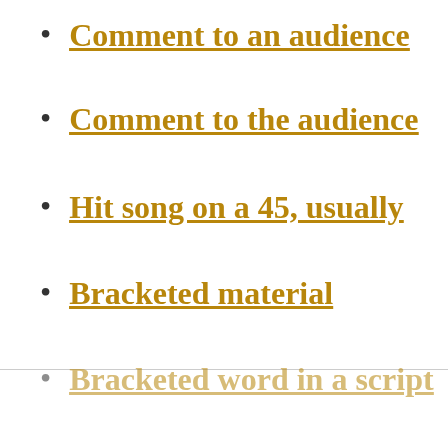Comment to an audience
Comment to the audience
Hit song on a 45, usually
Bracketed material
Bracketed word in a script